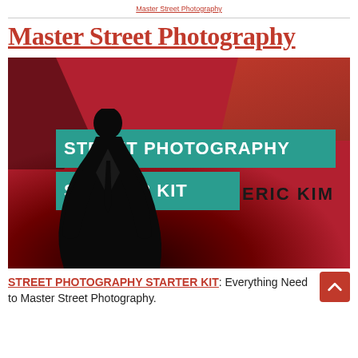Master Street Photography
Master Street Photography
[Figure (illustration): Book cover for 'Street Photography Starter Kit' by Eric Kim. Red/dark background with silhouette of man in suit. Two teal banners read 'STREET PHOTOGRAPHY' and 'STARTER KIT'. Author name 'ERIC KIM' in black.]
STREET PHOTOGRAPHY STARTER KIT: Everything Need to Master Street Photography.